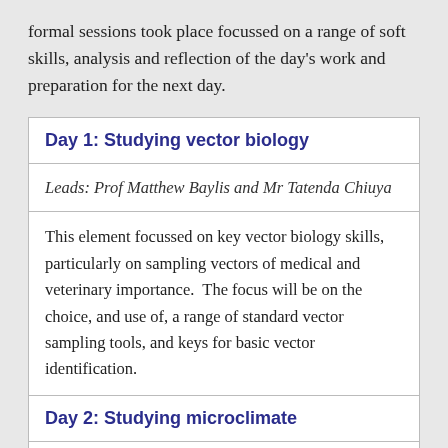formal sessions took place focussed on a range of soft skills, analysis and reflection of the day's work and preparation for the next day.
| Day 1: Studying vector biology |
| Leads: Prof Matthew Baylis and Mr Tatenda Chiuya |
| This element focussed on key vector biology skills, particularly on sampling vectors of medical and veterinary importance.  The focus will be on the choice, and use of, a range of standard vector sampling tools, and keys for basic vector identification. |
| Day 2: Studying microclimate |
| Leads: Prof Andy Morse and Prof Matthew Baylis |